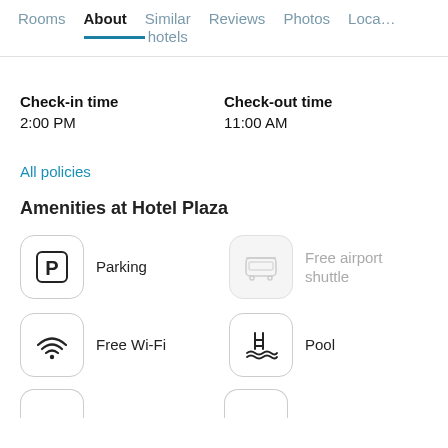Rooms | About | Similar hotels | Reviews | Photos | Loca…
Check-in time
2:00 PM
Check-out time
11:00 AM
All policies
Amenities at Hotel Plaza
Parking
Free airport shuttle
Free Wi-Fi
Pool